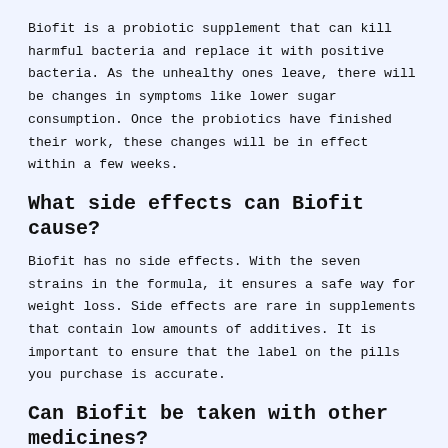Biofit is a probiotic supplement that can kill harmful bacteria and replace it with positive bacteria. As the unhealthy ones leave, there will be changes in symptoms like lower sugar consumption. Once the probiotics have finished their work, these changes will be in effect within a few weeks.
What side effects can Biofit cause?
Biofit has no side effects. With the seven strains in the formula, it ensures a safe way for weight loss. Side effects are rare in supplements that contain low amounts of additives. It is important to ensure that the label on the pills you purchase is accurate.
Can Biofit be taken with other medicines?
As Biofit is a supplement, it is best to do consultations with a